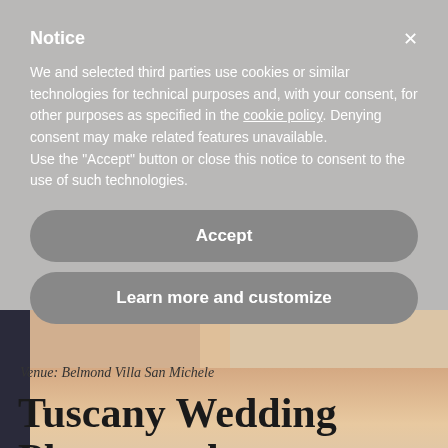[Figure (photo): Wedding photo showing a person in a dark suit and a bride's arm with wedding accessories, partially visible behind a cookie consent overlay]
Notice
We and selected third parties use cookies or similar technologies for technical purposes and, with your consent, for other purposes as specified in the cookie policy. Denying consent may make related features unavailable.
Use the “Accept” button or close this notice to consent to the use of such technologies.
Accept
Learn more and customize
Venue: Belmond Villa San Michele
Tuscany Wedding Photographer